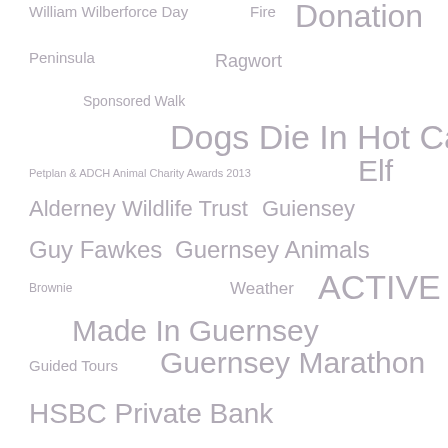[Figure (infographic): Tag cloud / word cloud with various terms related to Guernsey SPCA and animal charity topics, displayed in varying font sizes, all in a muted grey/mauve color. Terms include: William Wilberforce Day, Fire, Donation, Peninsula, Ragwort, Sponsored Walk, Dogs Die In Hot Cars, Petplan & ADCH Animal Charity Awards 2013, Elf, Alderney Wildlife Trust, Guiensey, Guy Fawkes, Guernsey Animals, Brownie, Weather, ACTIVE, Made In Guernsey, Guided Tours, Guernsey Marathon, HSBC Private Bank, Guernsey Community Foundation Awards, GSPCA. Seal pup, Scottish, Animal Hedgehog Week, %23WalkingYourDogDay, Guernsey GSPCA]